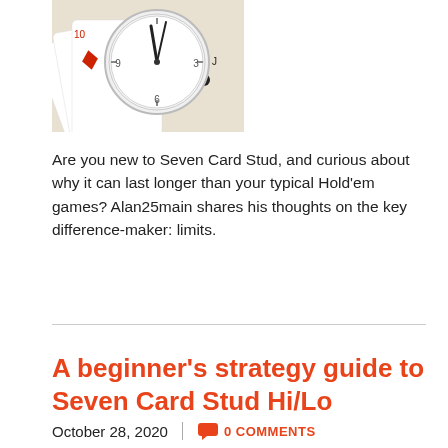[Figure (photo): A white round analog clock showing approximately 11:58, resting on a spread of playing cards with red and black suits visible]
Are you new to Seven Card Stud, and curious about why it can last longer than your typical Hold'em games? Alan25main shares his thoughts on the key difference-maker: limits.
A beginner's strategy guide to Seven Card Stud Hi/Lo
October 28, 2020   0 COMMENTS